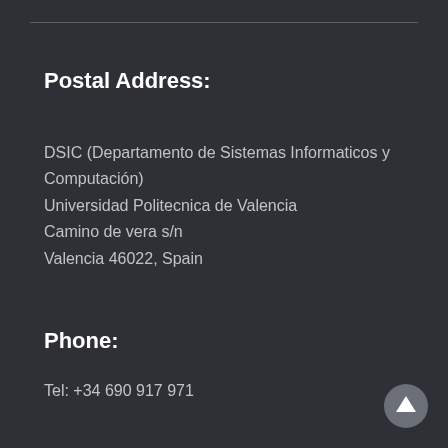Postal Address:
DSIC (Departamento de Sistemas Informaticos y Computación)
Universidad Politecnica de Valencia
Camino de vera s/n
Valencia 46022, Spain
Phone:
Tel: +34 690 917 971